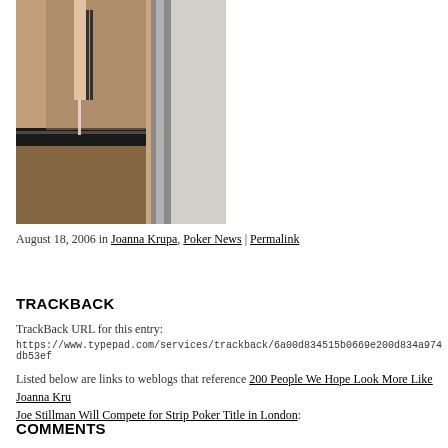[Figure (photo): Photograph of a person in lingerie including fishnet stockings and a garter belt, partial view]
August 18, 2006 in Joanna Krupa, Poker News | Permalink
TRACKBACK
TrackBack URL for this entry:
https://www.typepad.com/services/trackback/6a00d834515b0669e200d834a974db53ef
Listed below are links to weblogs that reference 200 People We Hope Look More Like Joanna Kru... Joe Stillman Will Compete for Strip Poker Title in London:
COMMENTS